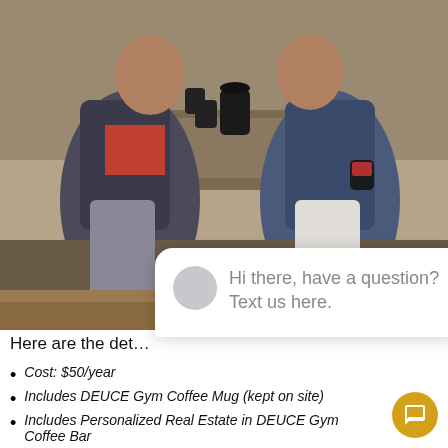[Figure (photo): Two men in blazers sitting across from each other at a table, holding coffee mugs. A coffee maker and mugs are on the table between them. They appear to be in a casual meeting or conversation setting.]
close
Hi there, have a question? Text us here.
Here are the det…
Cost: $50/year
Includes DEUCE Gym Coffee Mug (kept on site)
Includes Personalized Real Estate in DEUCE Gym Coffee Bar